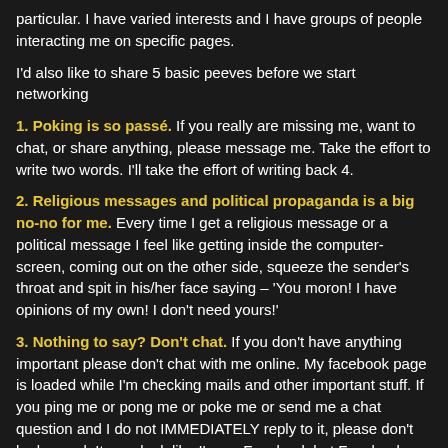particular. I have varied interests and I have groups of people interacting me on specific pages.
I'd also like to share 5 basic peeves before we start networking
1. Poking is so passé. If you really are missing me, want to chat, or share anything, please message me. Take the effort to write two words. I'll take the effort of writing back 4.
2. Religious messages and political propaganda is a big no-no for me. Every time I get a religious message or a political message I feel like getting inside the computer-screen, coming out on the other side, squeeze the sender's throat and spit in his/her face saying – 'You moron! I have opinions of my own! I don't need yours!'
3. Nothing to say? Don't chat. If you don't have anything important please don't chat with me online. My facebook page is loaded while I'm checking mails and other important stuff. If you ping me or pong me or poke me or send me a chat question and I do not IMMEDIATELY reply to it, please don't be bugged. It may look like I'm on Facebook but Facebook